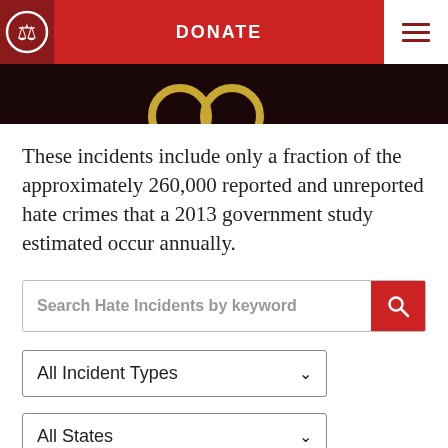DONATE
[Figure (screenshot): Dark image strip showing partial golden circular emblems on dark background]
These incidents include only a fraction of the approximately 260,000 reported and unreported hate crimes that a 2013 government study estimated occur annually.
Search Hate Incidents by keyword
All Incident Types
All States
Showing 4114 Results  Reset Search ×